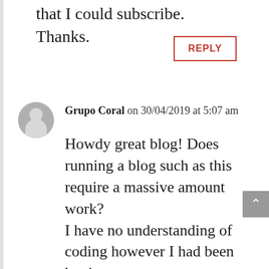that I could subscribe. Thanks.
REPLY
Grupo Coral on 30/04/2019 at 5:07 am
Howdy great blog! Does running a blog such as this require a massive amount work? I have no understanding of coding however I had been hoping to start my own blog soon. Anyhow, should you have any